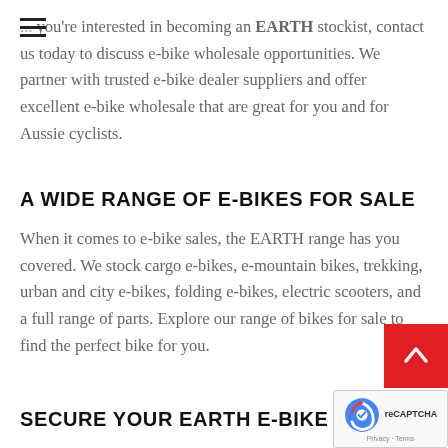... you're interested in becoming an EARTH stockist, contact us today to discuss e-bike wholesale opportunities. We partner with trusted e-bike dealer suppliers and offer excellent e-bike wholesale that are great for you and for Aussie cyclists.
A WIDE RANGE OF E-BIKES FOR SALE
When it comes to e-bike sales, the EARTH range has you covered. We stock cargo e-bikes, e-mountain bikes, trekking, urban and city e-bikes, folding e-bikes, electric scooters, and a full range of parts. Explore our range of bikes for sale to find the perfect bike for you.
SECURE YOUR EARTH E-BIKE ANYWHERE IN AUSTRA